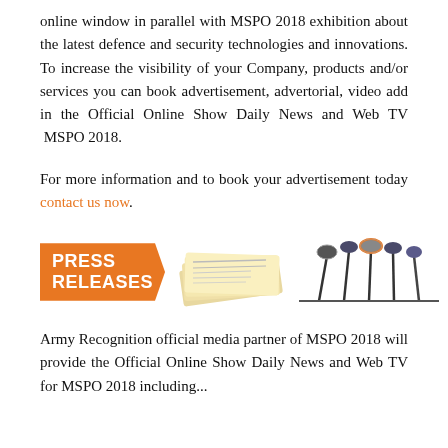online window in parallel with MSPO 2018 exhibition about the latest defence and security technologies and innovations. To increase the visibility of your Company, products and/or services you can book advertisement, advertorial, video add in the Official Online Show Daily News and Web TV  MSPO 2018.
For more information and to book your advertisement today contact us now.
[Figure (photo): Press Releases banner with orange arrow-shaped label reading PRESS RELEASES, accompanied by a photo of stacked newspapers on the left, and a photo of multiple microphones on a stand on the right.]
Army Recognition official media partner of MSPO 2018 will provide the Official Online Show Daily News and Web TV for MSPO 2018 including...